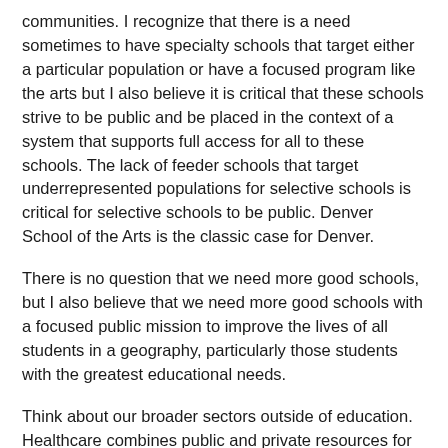communities. I recognize that there is a need sometimes to have specialty schools that target either a particular population or have a focused program like the arts but I also believe it is critical that these schools strive to be public and be placed in the context of a system that supports full access for all to these schools. The lack of feeder schools that target underrepresented populations for selective schools is critical for selective schools to be public. Denver School of the Arts is the classic case for Denver.
There is no question that we need more good schools, but I also believe that we need more good schools with a focused public mission to improve the lives of all students in a geography, particularly those students with the greatest educational needs.
Think about our broader sectors outside of education. Healthcare combines public and private resources for varying degrees of public mission. Infrastructure utilizes private resources to enable public ends.  Major corporations are now accountable for public and social good.  Think about Google,